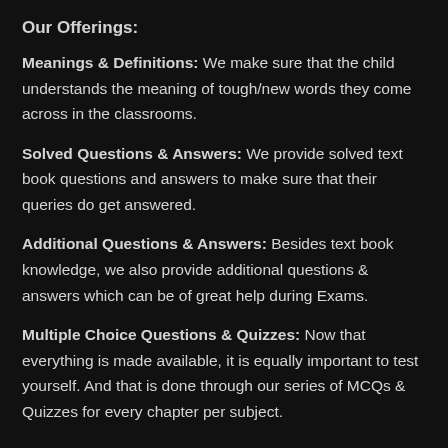Our Offerings:
Meanings & Definitions: We make sure that the child understands the meaning of tough/new words they come across in the classrooms.
Solved Questions & Answers: We provide solved text book questions and answers to make sure that their queries do get answered.
Additional Questions & Answers: Besides text book knowledge, we also provide additional questions & answers which can be of great help during Exams.
Multiple Choice Questions & Quizzes: Now that everything is made available, it is equally important to test yourself. And that is done through our series of MCQs & Quizzes for every chapter per subject.